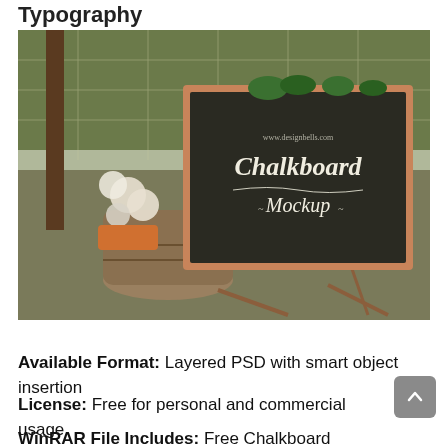Typography
[Figure (photo): Outdoor chalkboard mockup on an easel atop a wine barrel, with flowers and greenery decorations. The dark chalkboard has a wooden frame and displays 'www.designbells.com' at the top and 'Chalkboard Mockup' in decorative script lettering in the center.]
Available Format: Layered PSD with smart object insertion
License: Free for personal and commercial usage
WinRAR File Includes: Free Chalkboard